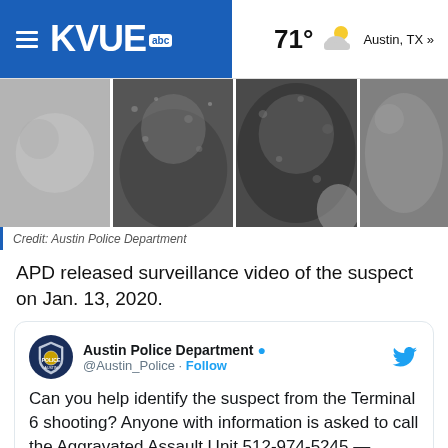KVUE abc — 71° Austin, TX »
[Figure (photo): Surveillance video stills of a suspect, shown in four grainy black-and-white panels side by side.]
Credit: Austin Police Department
APD released surveillance video of the suspect on Jan. 13, 2020.
Austin Police Department @Austin_Police · Follow
Can you help identify the suspect from the Terminal 6 shooting? Anyone with information is asked to call the Aggravated Assault Unit 512-974-5245 — Case# 20-10317.